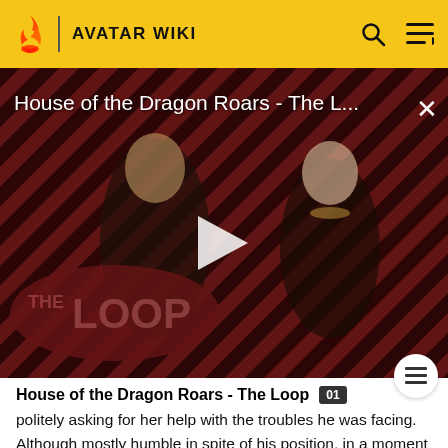AVATAR WIKI
[Figure (screenshot): Video thumbnail for 'House of the Dragon Roars - The L...' showing two characters in medieval fantasy costumes against a diagonal red and dark stripe pattern background, with a play button in the center and 'THE LOOP' branding in the lower left. A close (X) button appears in the top right.]
House of the Dragon Roars - The Loop
politely asking for her help with the troubles he was facing. Although mostly humble in spite of his position, in a moment of arrogance, he had a boastful reception prepared for Kyoshi in order to enhance his image in her